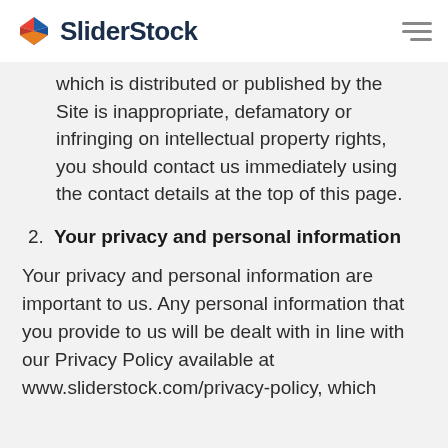SliderStock
which is distributed or published by the Site is inappropriate, defamatory or infringing on intellectual property rights, you should contact us immediately using the contact details at the top of this page.
2. Your privacy and personal information
Your privacy and personal information are important to us. Any personal information that you provide to us will be dealt with in line with our Privacy Policy available at www.sliderstock.com/privacy-policy, which